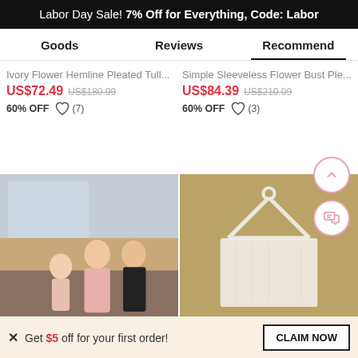Labor Day Sale! 7% Off for Everything, Code: Labor
Goods | Reviews | Recommend
Ivory Flower Hemline Pleated Tull...
US$72.49  US$180.99  60% OFF  (7)
Simple Sleeveless Flower Bust Ple...
US$84.39  US$210.09  60% OFF  (3)
[Figure (photo): Two children and a girl in formal wear posing indoors]
[Figure (photo): A white dress on a hanger laid on a wooden surface]
Get $5 off for your first order!
CLAIM NOW
ADD TO BAG